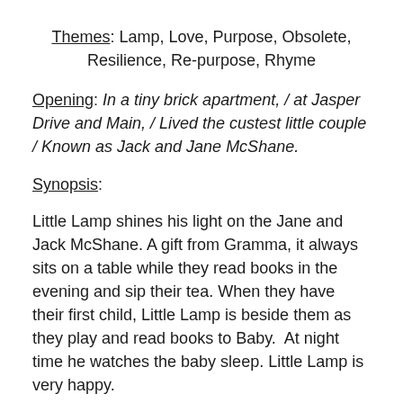Themes: Lamp, Love, Purpose, Obsolete, Resilience, Re-purpose, Rhyme
Opening: In a tiny brick apartment, / at Jasper Drive and Main, / Lived the custest little couple / Known as Jack and Jane McShane.
Synopsis:
Little Lamp shines his light on the Jane and Jack McShane. A gift from Gramma, it always sits on a table while they read books in the evening and sip their tea. When they have their first child, Little Lamp is beside them as they play and read books to Baby.  At night time he watches the baby sleep. Little Lamp is very happy.
Then one day Jack McShane brings home a big, shiny